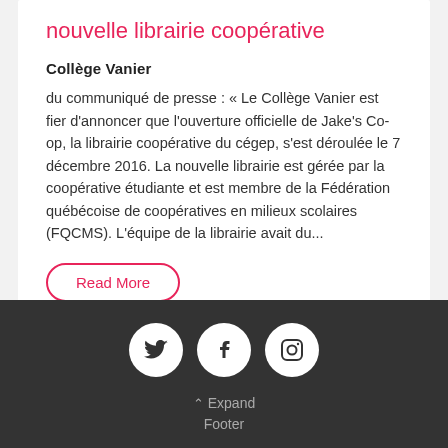nouvelle librairie coopérative
Collège Vanier
du communiqué de presse : « Le Collège Vanier est fier d'annoncer que l'ouverture officielle de Jake's Co-op, la librairie coopérative du cégep, s'est déroulée le 7 décembre 2016. La nouvelle librairie est gérée par la coopérative étudiante et est membre de la Fédération québécoise de coopératives en milieux scolaires (FQCMS). L'équipe de la librairie avait du...
Read More
1022
Expand Footer